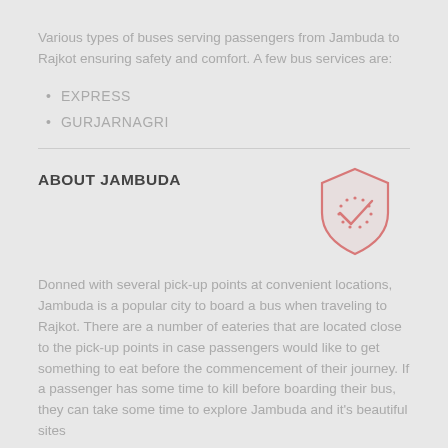Various types of buses serving passengers from Jambuda to Rajkot ensuring safety and comfort. A few bus services are:
EXPRESS
GURJARNAGRI
ABOUT JAMBUDA
[Figure (illustration): Shield icon with a checkmark and dotted clock face, rendered in pink/rose outline style]
Donned with several pick-up points at convenient locations, Jambuda is a popular city to board a bus when traveling to Rajkot. There are a number of eateries that are located close to the pick-up points in case passengers would like to get something to eat before the commencement of their journey. If a passenger has some time to kill before boarding their bus, they can take some time to explore Jambuda and it's beautiful sites